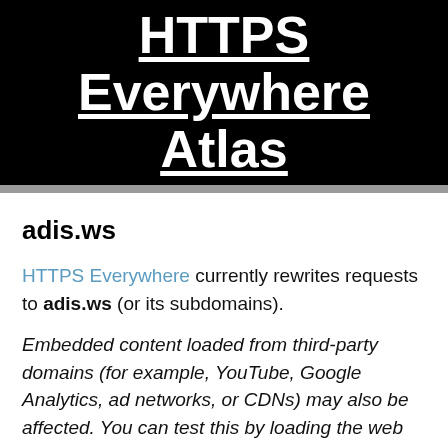HTTPS Everywhere Atlas
adis.ws
HTTPS Everywhere currently rewrites requests to adis.ws (or its subdomains).
Embedded content loaded from third-party domains (for example, YouTube, Google Analytics, ad networks, or CDNs) may also be affected. You can test this by loading the web page in question in a browser with HTTPS Everywhere installed and pulling down the